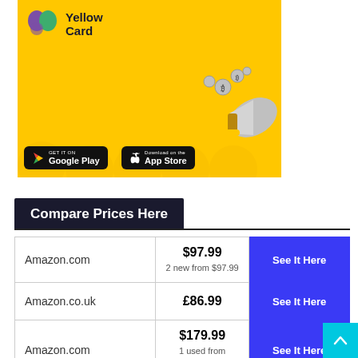[Figure (illustration): Yellow Card app advertisement banner with yellow background, logo in top-left, megaphone with coins on the right, and Google Play and App Store download badges at the bottom]
Compare Prices Here
| Retailer | Price | Action |
| --- | --- | --- |
| Amazon.com | $97.99
2 new from $97.99 | See It Here |
| Amazon.co.uk | £86.99 | See It Here |
| Amazon.com | $179.99
1 used from $160.62 | See It Here |